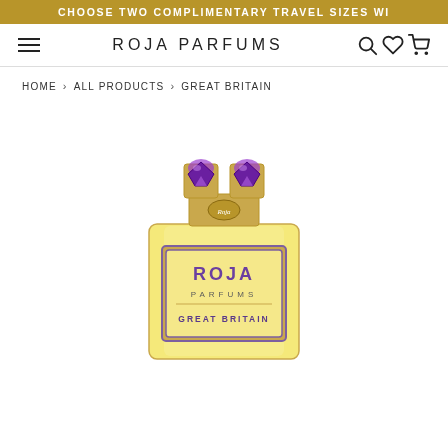CHOOSE TWO COMPLIMENTARY TRAVEL SIZES WI
ROJA PARFUMS
HOME › ALL PRODUCTS › GREAT BRITAIN
[Figure (photo): Roja Parfums Great Britain perfume bottle with gold body, purple label reading ROJA PARFUMS GREAT BRITAIN, and double purple gemstone cap]